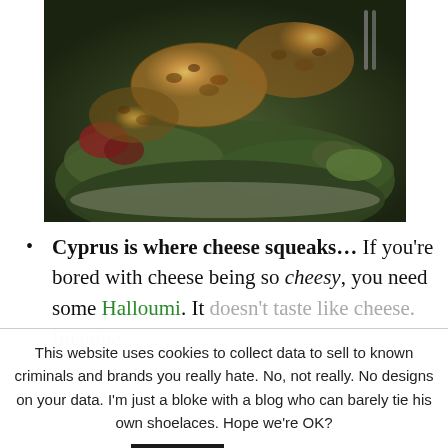[Figure (photo): A plate of fried halloumi cheese on a salad with mixed greens, tomatoes, and cucumber]
Cyprus is where cheese squeaks… If you're bored with cheese being so cheesy, you need some Halloumi. It doesn't taste like cheese. Imagine…
This website uses cookies to collect data to sell to known criminals and brands you really hate. No, not really. No designs on your data. I'm just a bloke with a blog who can barely tie his own shoelaces. Hope we're OK?